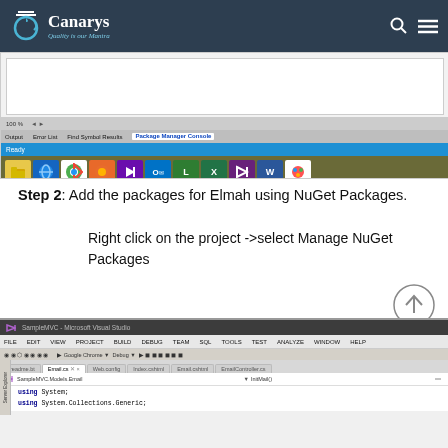Canarys — Quality is our Mantra
[Figure (screenshot): Visual Studio IDE showing Output, Error List, Find Symbol Results, Package Manager Console tabs and Windows taskbar with browser and Office application icons]
Step 2: Add the packages for Elmah using NuGet Packages.
Right click on the project ->select Manage NuGet Packages
[Figure (screenshot): Visual Studio IDE showing SampleMVC project open with Email.cs tab active, code editor showing 'using System;' and 'using System.Collections.Generic;']